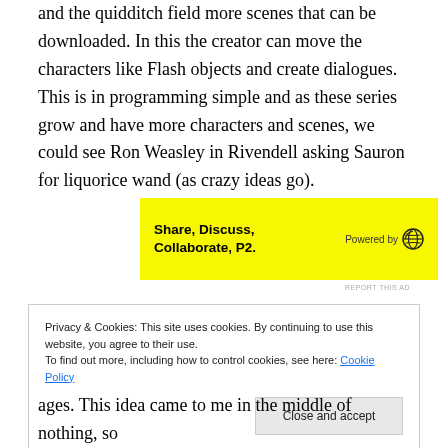and the quidditch field more scenes that can be downloaded. In this the creator can move the characters like Flash objects and create dialogues. This is in programming simple and as these series grow and have more characters and scenes, we could see Ron Weasley in Rivendell asking Sauron for liquorice wand (as crazy ideas go).
[Figure (other): Yellow advertisement banner: Share, Discuss, Collaborate, P2. Powered by WordPress logo.]
REPORT THIS AD
Privacy & Cookies: This site uses cookies. By continuing to use this website, you agree to their use.
To find out more, including how to control cookies, see here: Cookie Policy
[Close and accept button]
ages. This idea came to me in the middle of nothing, so